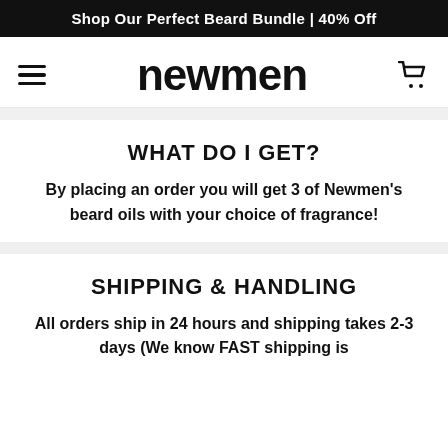Shop Our Perfect Beard Bundle | 40% Off
[Figure (logo): Newmen brand logo with hamburger menu icon on the left and shopping cart icon on the right]
WHAT DO I GET?
By placing an order you will get 3 of Newmen's beard oils with your choice of fragrance!
SHIPPING & HANDLING
All orders ship in 24 hours and shipping takes 2-3 days (We know FAST shipping is